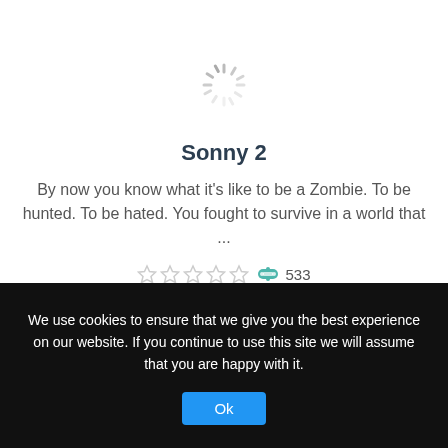[Figure (other): Loading spinner icon (circular dashed lines in grey/light grey)]
Sonny 2
By now you know what it's like to be a Zombie. To be hunted. To be hated. You fought to survive in a world that ...
[Figure (other): 5 empty/grey star rating icons followed by a gamepad icon and the number 533]
We use cookies to ensure that we give you the best experience on our website. If you continue to use this site we will assume that you are happy with it.